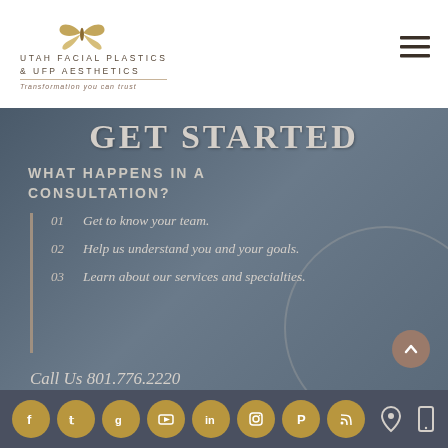Utah Facial Plastics & UFP Aesthetics — Transformation you can trust
GET STARTED
WHAT HAPPENS IN A CONSULTATION?
01  Get to know your team.
02  Help us understand you and your goals.
03  Learn about our services and specialties.
Call Us 801.776.2220
Social icons: Facebook, Twitter, Google, YouTube, LinkedIn, Instagram, Pinterest, RSS | Location | Mobile